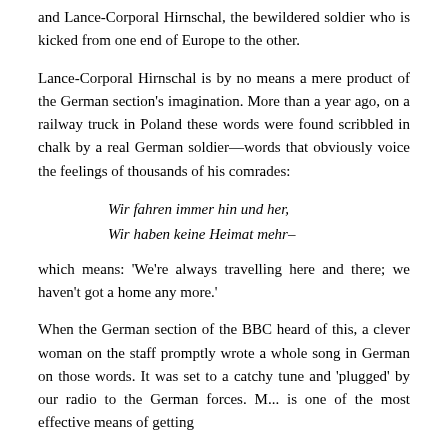and Lance-Corporal Hirnschal, the bewildered soldier who is kicked from one end of Europe to the other.
Lance-Corporal Hirnschal is by no means a mere product of the German section's imagination. More than a year ago, on a railway truck in Poland these words were found scribbled in chalk by a real German soldier—words that obviously voice the feelings of thousands of his comrades:
Wir fahren immer hin und her,
Wir haben keine Heimat mehr–
which means: 'We're always travelling here and there; we haven't got a home any more.'
When the German section of the BBC heard of this, a clever woman on the staff promptly wrote a whole song in German on those words. It was set to a catchy tune and 'plugged' by our radio to the German forces. M... is one of the most effective means of getting